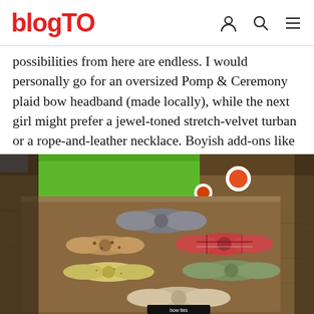blogTO
possibilities from here are endless. I would personally go for an oversized Pomp & Ceremony plaid bow headband (made locally), while the next girl might prefer a jewel-toned stretch-velvet turban or a rope-and-leather necklace. Boyish add-ons like vintage-y bow ties are also good bets.
[Figure (photo): A wooden surface displaying multiple bow ties in various fabrics and patterns including plaid, spotted, and solid colors. A green box is visible in the background.]